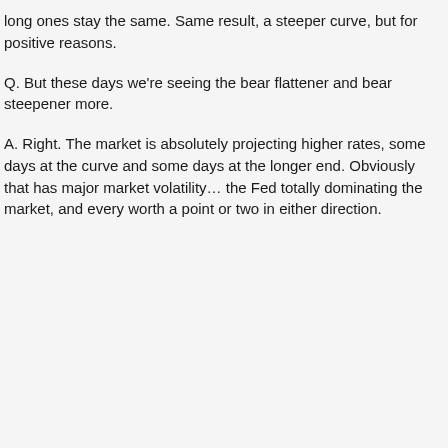long ones stay the same. Same result, a steeper curve, but for positive reasons.
Q. But these days we're seeing the bear flattener and bear steepener more.
A. Right. The market is absolutely projecting higher rates, some days at the curve and some days at the longer end. Obviously that has major market volatility… the Fed totally dominating the market, and every worth a point or two in either direction.